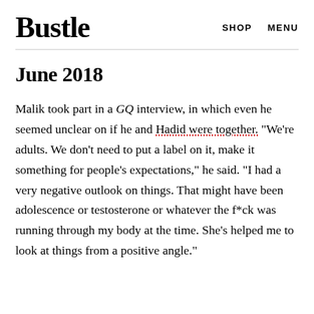Bustle   SHOP   MENU
June 2018
Malik took part in a GQ interview, in which even he seemed unclear on if he and Hadid were together. "We're adults. We don't need to put a label on it, make it something for people's expectations," he said. "I had a very negative outlook on things. That might have been adolescence or testosterone or whatever the f*ck was running through my body at the time. She's helped me to look at things from a positive angle."